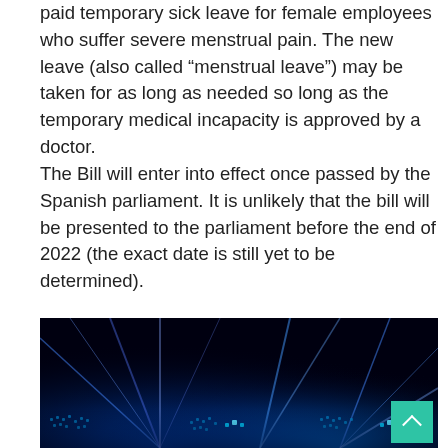paid temporary sick leave for female employees who suffer severe menstrual pain. The new leave (also called “menstrual leave”) may be taken for as long as needed so long as the temporary medical incapacity is approved by a doctor. The Bill will enter into effect once passed by the Spanish parliament. It is unlikely that the bill will be presented to the parliament before the end of 2022 (the exact date is still yet to be determined).
[Figure (photo): A dark background photo with blue light rays/beams radiating upward from the bottom, with glowing dot patterns suggesting a digital world map at the bottom.]